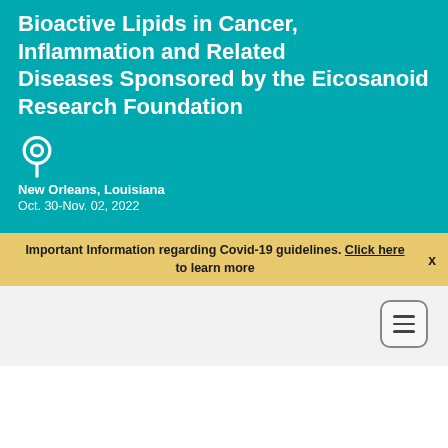Bioactive Lipids in Cancer, Inflammation and Related Diseases Sponsored by the Eicosanoid Research Foundation
New Orleans, Louisiana
Oct. 30-Nov. 02, 2022
Important Information regarding Covid-19 guidelines. Click here to learn more